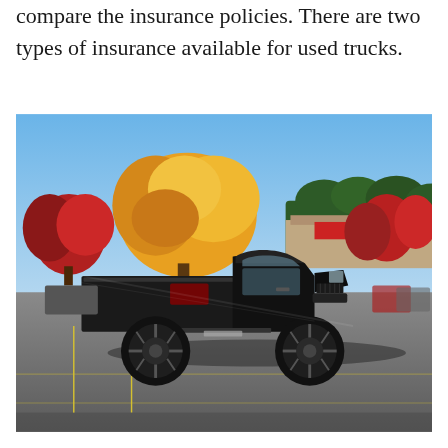compare the insurance policies. There are two types of insurance available for used trucks.
[Figure (photo): A black lifted pickup truck (Dodge Ram style) parked in a parking lot on a sunny autumn day, with colorful autumn trees (orange, yellow, red) and a retail building visible in the background under a blue sky.]